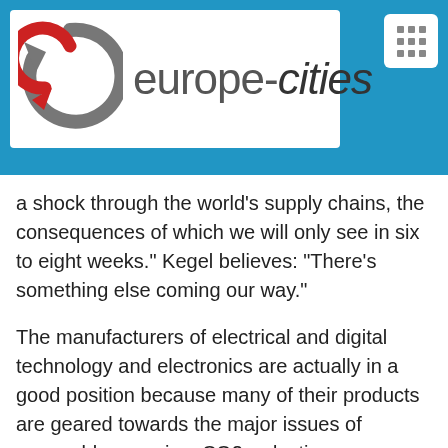[Figure (logo): europe-cities logo with circular arrow icon in grey and red on white background, set against a blue header bar with a menu icon button in the top right corner]
a shock through the world’s supply chains, the consequences of which we will only see in six to eight weeks.” Kegel believes: “There’s something else coming our way.”
The manufacturers of electrical and digital technology and electronics are actually in a good position because many of their products are geared towards the major issues of renewable energies, CO2 reduction, digitization and energy efficiency. A faster shift towards renewables will support demand overall, said Kegel. “Therefore, we believe that we can stick to our forecast of growth of 4 percent this year.”
The world’s famous industrial show opens on Sunday evening. After a cancellation in 2020 due to the pandemic and an online